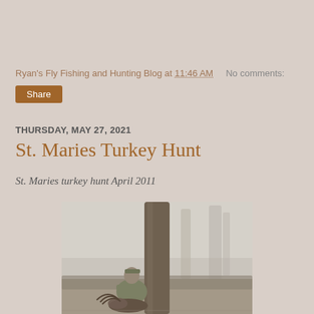Ryan's Fly Fishing and Hunting Blog at 11:46 AM   No comments:
Share
THURSDAY, MAY 27, 2021
St. Maries Turkey Hunt
St. Maries turkey hunt April 2011
[Figure (photo): A hunter in camouflage sitting against a tree trunk in a misty forest, with a harvested turkey in front of them. Trees visible in foggy background.]